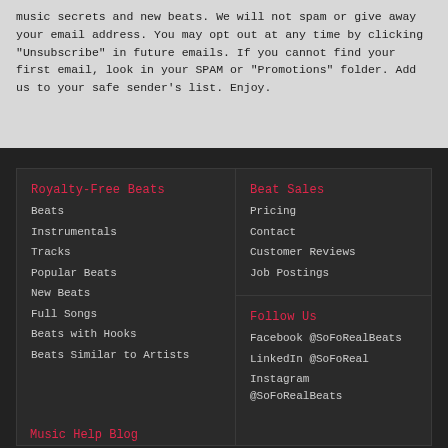music secrets and new beats. We will not spam or give away your email address. You may opt out at any time by clicking "Unsubscribe" in future emails. If you cannot find your first email, look in your SPAM or "Promotions" folder. Add us to your safe sender's list. Enjoy.
Royalty-Free Beats
Beats
Instrumentals
Tracks
Popular Beats
New Beats
Full Songs
Beats with Hooks
Beats Similar to Artists
Beat Sales
Pricing
Contact
Customer Reviews
Job Postings
Follow Us
Facebook @SoFoRealBeats
LinkedIn @SoFoReal
Instagram @SoFoRealBeats
Music Help Blog